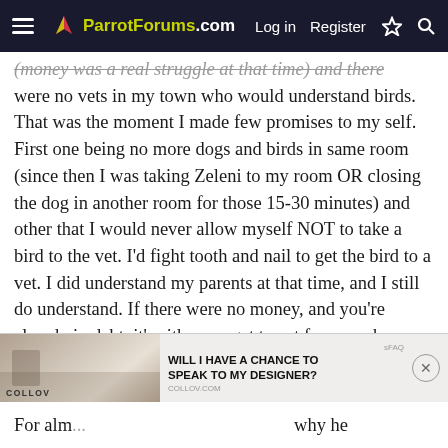ParrotForums.com — Log in | Register
(money was a real struggle at that time) and there were no vets in my town who would understand birds. That was the moment I made few promises to my self. First one being no more dogs and birds in same room (since then I was taking Zeleni to my room OR closing the dog in another room for those 15-30 minutes) and other that I would never allow myself NOT to take a bird to the vet. I'd fight tooth and nail to get the bird to a vet. I did understand my parents at that time, and I still do understand. If there were no money, and you're already in debt, it's either we get to eat for a week or two, or we spend whatever left money we had for a vet who probably doesn't understand birds. And I have to tell you - This bird has never seen a vet. That's right, never, not once in his 28 years of life.
[Figure (screenshot): Advertisement banner for Collov interior design service with text: WILL I HAVE A CHANCE TO SPEAK TO MY DESIGNER?]
For alm... why he